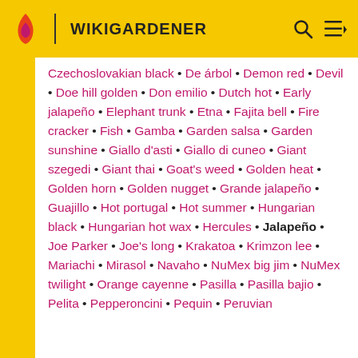WIKIGARDENER
Czechoslovakian black • De árbol • Demon red • Devil • Doe hill golden • Don emilio • Dutch hot • Early jalapeño • Elephant trunk • Etna • Fajita bell • Fire cracker • Fish • Gamba • Garden salsa • Garden sunshine • Giallo d'asti • Giallo di cuneo • Giant szegedi • Giant thai • Goat's weed • Golden heat • Golden horn • Golden nugget • Grande jalapeño • Guajillo • Hot portugal • Hot summer • Hungarian black • Hungarian hot wax • Hercules • Jalapeño • Joe Parker • Joe's long • Krakatoa • Krimzon lee • Mariachi • Mirasol • Navaho • NuMex big jim • NuMex twilight • Orange cayenne • Pasilla • Pasilla bajio • Pelita • Pepperoncini • Pequin • Peruvian